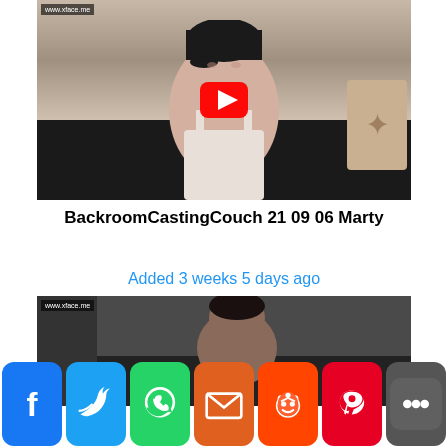[Figure (screenshot): Video thumbnail showing a woman with dark hair sitting on a black leather couch, with a YouTube-style red play button overlay. Watermark text in top left corner.]
BackroomCastingCouch 21 09 06 Marty
Added 3 weeks 5 days ago
[Figure (screenshot): Second video thumbnail showing a woman with dark hair on a black leather couch.]
[Figure (infographic): Social sharing buttons bar: Facebook, Twitter, WhatsApp, Email, Reddit, Pinterest, More]